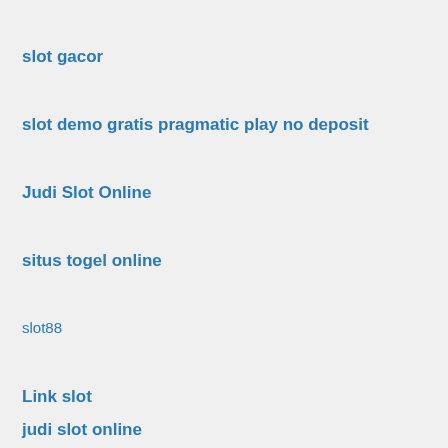slot gacor
slot demo gratis pragmatic play no deposit
Judi Slot Online
situs togel online
slot88
Link slot
judi slot online